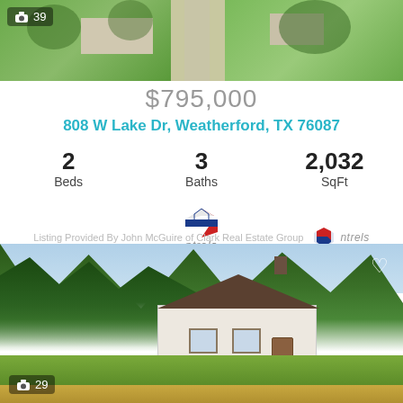[Figure (photo): Aerial view of property showing green lawn, trees, and driveway with house]
$795,000
808 W Lake Dr, Weatherford, TX 76087
2 Beds   3 Baths   2,032 SqFt
Listing Provided By John McGuire of Clark Real Estate Group ntrels
[Figure (photo): Front view of white single-story house with dark roof surrounded by large trees on green/dry grass lawn. Heart icon top right. Badge showing camera icon and 29.]